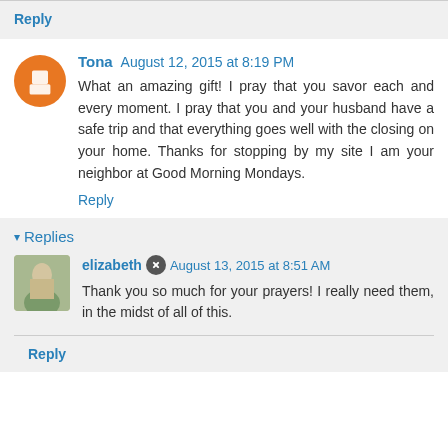Reply
Tona August 12, 2015 at 8:19 PM
What an amazing gift! I pray that you savor each and every moment. I pray that you and your husband have a safe trip and that everything goes well with the closing on your home. Thanks for stopping by my site I am your neighbor at Good Morning Mondays.
Reply
Replies
elizabeth August 13, 2015 at 8:51 AM
Thank you so much for your prayers! I really need them, in the midst of all of this.
Reply